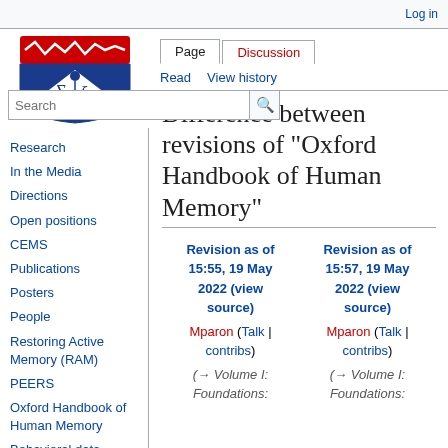Log in
[Figure (logo): University of Pennsylvania shield logo with red top bar and navy blue shield containing Greek letters Sigma and Xi]
Page | Discussion | Read | View history
Search
Difference between revisions of "Oxford Handbook of Human Memory"
Research
In the Media
Directions
Open positions
CEMS
Publications
Posters
People
Restoring Active Memory (RAM)
PEERS
Oxford Handbook of Human Memory
Behavioral data archive
| Revision as of 15:55, 19 May 2022 (view source) | Revision as of 15:57, 19 May 2022 (view source) |
| --- | --- |
| Mparon (Talk | contribs) | Mparon (Talk | contribs) |
| (→ Volume I: Foundations: | (→ Volume I: Foundations: |